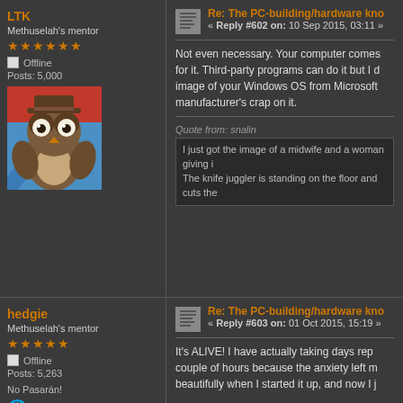LTK
Methuselah's mentor
★★★★★★
Offline
Posts: 5,000
[Figure (photo): Avatar image of an owl cartoon character]
Re: The PC-building/hardware kno « Reply #602 on: 10 Sep 2015, 03:11 »
Not even necessary. Your computer comes for it. Third-party programs can do it but I d image of your Windows OS from Microsoft manufacturer's crap on it.
Quote from: snalin
I just got the image of a midwife and a woman giving The knife juggler is standing on the floor and cuts the
hedgie
Methuselah's mentor
★★★★★
Offline
Posts: 5,263
No Pasarán!
Re: The PC-building/hardware kno « Reply #603 on: 01 Oct 2015, 15:19 »
It's ALIVE!  I have actually taking days rep couple of hours because the anxiety left m beautifully when I started it up, and now I j